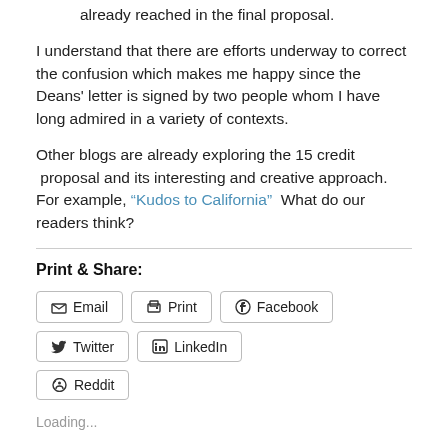already reached in the final proposal.
I understand that there are efforts underway to correct the confusion which makes me happy since the Deans' letter is signed by two people whom I have long admired in a variety of contexts.
Other blogs are already exploring the 15 credit  proposal and its interesting and creative approach. For example, “Kudos to California”  What do our readers think?
Print & Share:
Email  Print  Facebook  Twitter  LinkedIn  Reddit
Loading...